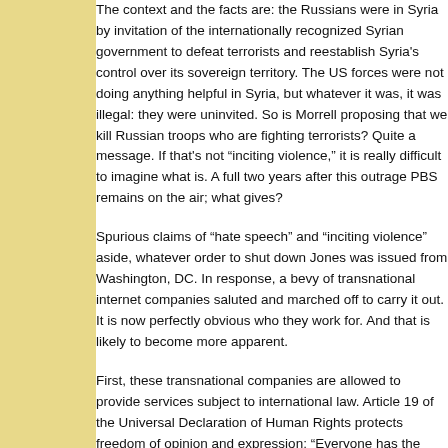The context and the facts are: the Russians were in Syria by invitation of the internationally recognized Syrian government to defeat terrorists and reestablish Syria's control over its sovereign territory. The US forces were not doing anything helpful in Syria, but whatever it was, it was illegal: they were uninvited. So is Morrell proposing that we kill Russian troops who are fighting terrorists? Quite a message. If that's not "inciting violence," it is really difficult to imagine what is. A full two years after this outrage PBS remains on the air; what gives?
Spurious claims of "hate speech" and "inciting violence" aside, whatever order to shut down Jones was issued from Washington, DC. In response, a bevy of transnational internet companies saluted and marched off to carry it out. It is now perfectly obvious who they work for. And that is likely to become more apparent.
First, these transnational companies are allowed to provide services subject to international law. Article 19 of the Universal Declaration of Human Rights protects freedom of opinion and expression: "Everyone has the right to freedom of opinion and expression; this right includes freedom to hold opinions without interference and to receive and impart information and ideas through any media and regardless of frontiers." Jones can sue the US and the companies that censored him in the European Court of Human Rights in Strasbourg, France and seek redress both against entities within the US government that issued the illegal order (to be ferreted out in the course of discovery) and against the transnational companies that carried it out.
Second, these transnational companies operate around the world where local law in many cases prevents them from acting as agents of foreign governments.